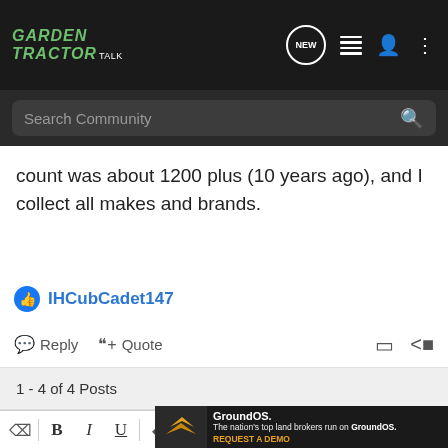Garden Tractor Talk — Search Community
count was about 1200 plus (10 years ago), and I collect all makes and brands.
IHCubCadet147
Reply   Quote
1 - 4 of 4 Posts
[Figure (screenshot): Text editor toolbar with formatting buttons: eraser, Bold, Italic, Underline, color picker, font size, link, image, camera, emoji, more, alignment; second row: list, table, undo, redo, save, settings]
[Figure (screenshot): GroundOS advertisement banner: 'The nation's top land brokers run on GroundOS. REQUEST A DEMO' with aerial farmland photo and GroundOS logo]